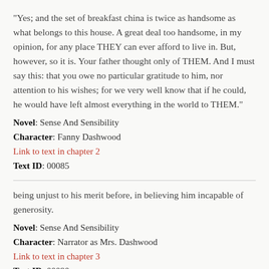"Yes; and the set of breakfast china is twice as handsome as what belongs to this house. A great deal too handsome, in my opinion, for any place THEY can ever afford to live in. But, however, so it is. Your father thought only of THEM. And I must say this: that you owe no particular gratitude to him, nor attention to his wishes; for we very well know that if he could, he would have left almost everything in the world to THEM."
Novel: Sense And Sensibility
Character: Fanny Dashwood
Link to text in chapter 2
Text ID: 00085
being unjust to his merit before, in believing him incapable of generosity.
Novel: Sense And Sensibility
Character: Narrator as Mrs. Dashwood
Link to text in chapter 3
Text ID: 00090
her brother's great expectations, of Mrs. Ferrars's resolution that